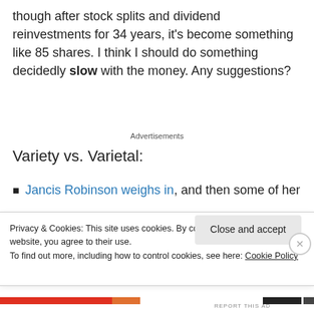though after stock splits and dividend reinvestments for 34 years, it's become something like 85 shares. I think I should do something decidedly slow with the money. Any suggestions?
Advertisements
Variety vs. Varietal:
Jancis Robinson weighs in, and then some of her readers follow up
Privacy & Cookies: This site uses cookies. By continuing to use this website, you agree to their use. To find out more, including how to control cookies, see here: Cookie Policy